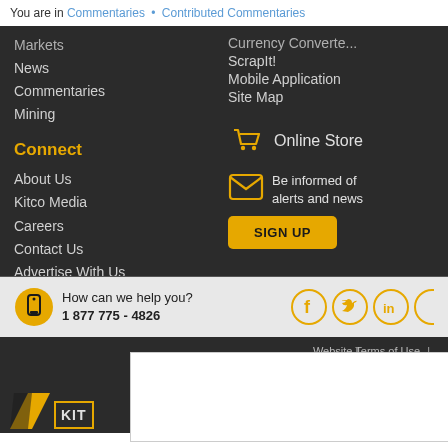You are in Commentaries • Contributed Commentaries
Markets
News
Commentaries
Mining
Currency Converte...
ScrapIt!
Mobile Application
Site Map
Connect
About Us
Kitco Media
Careers
Contact Us
Advertise With Us
Online Store
Be informed of alerts and news
SIGN UP
How can we help you? 1 877 775 - 4826
Website Terms of Use | Privacy Policy